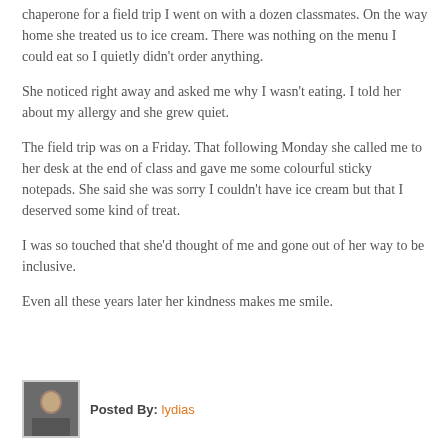chaperone for a field trip I went on with a dozen classmates. On the way home she treated us to ice cream. There was nothing on the menu I could eat so I quietly didn't order anything.
She noticed right away and asked me why I wasn't eating. I told her about my allergy and she grew quiet.
The field trip was on a Friday. That following Monday she called me to her desk at the end of class and gave me some colourful sticky notepads. She said she was sorry I couldn't have ice cream but that I deserved some kind of treat.
I was so touched that she'd thought of me and gone out of her way to be inclusive.
Even all these years later her kindness makes me smile.
Posted By: lydias